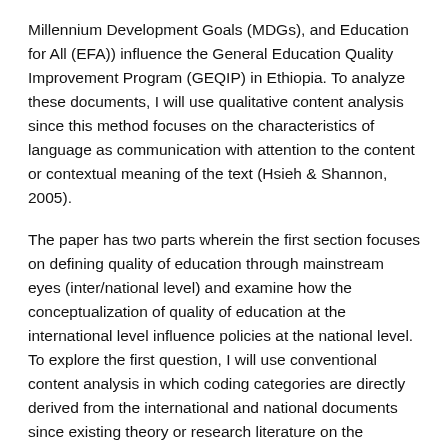Millennium Development Goals (MDGs), and Education for All (EFA)) influence the General Education Quality Improvement Program (GEQIP) in Ethiopia. To analyze these documents, I will use qualitative content analysis since this method focuses on the characteristics of language as communication with attention to the content or contextual meaning of the text (Hsieh & Shannon, 2005).
The paper has two parts wherein the first section focuses on defining quality of education through mainstream eyes (inter/national level) and examine how the conceptualization of quality of education at the international level influence policies at the national level. To explore the first question, I will use conventional content analysis in which coding categories are directly derived from the international and national documents since existing theory or research literature on the phenomenon is limited (Hsieh & Shannon, 2005). The close reading of the documents indicates that the essence of the international targets, specifically the SDGs, is reflected in the GEQIP in terms